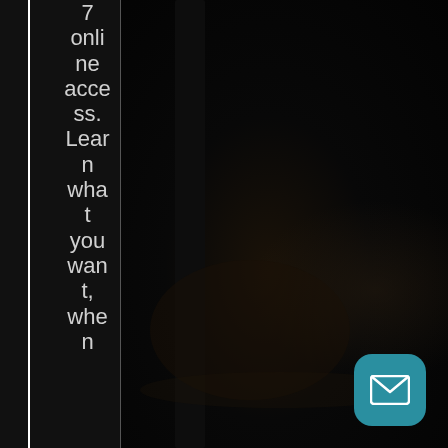7 online access. Learn what you want, when n
[Figure (photo): Dark background photo of a dimly lit room or space, mostly black with subtle warm-toned form visible in the lower center area. A teal/blue rounded square mail icon button is visible in the bottom right corner.]